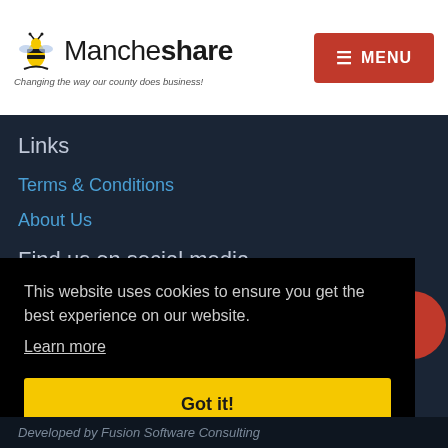Mancheshare — Changing the way our county does business! | MENU
Links
Terms & Conditions
About Us
Find us on social media
Keep up with the latest news and updates via our social media channels.
This website uses cookies to ensure you get the best experience on our website.
Learn more
Got it!
Developed by Fusion Software Consulting